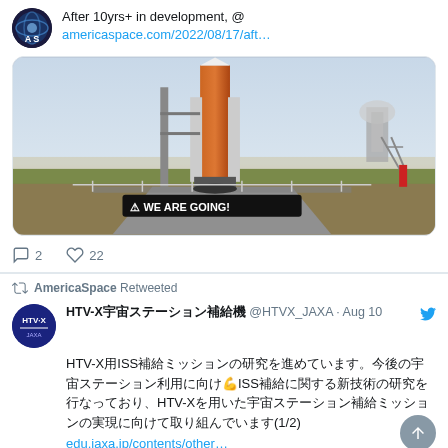After 10yrs+ in development, @ americaspace.com/2022/08/17/aft…
[Figure (photo): NASA SLS rocket on launch pad with 'WE ARE GOING!' banner overlay]
2 replies, 22 likes
AmericaSpace Retweeted
HTV-X宇宙ステーション補給機 @HTVX_JAXA · Aug 10
HTV-X用ISS補給ミッションの研究を進めています。今後の宇宙ステーション利用に向け💪ISS補給に関する新技術の研究を行なっており、HTV-Xを用いた宇宙ステーション補給ミッションの実現に向けて取り組んでいます(1/2)
edu.jaxa.jp/contents/other…